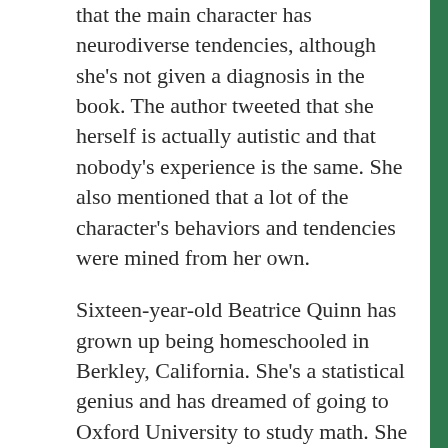that the main character has neurodiverse tendencies, although she's not given a diagnosis in the book. The author tweeted that she herself is actually autistic and that nobody's experience is the same. She also mentioned that a lot of the character's behaviors and tendencies were mined from her own.
Sixteen-year-old Beatrice Quinn has grown up being homeschooled in Berkley, California. She's a statistical genius and has dreamed of going to Oxford University to study math. She always thought that the hard part would be getting into this highly prestigious school in England, not convincing her parents to let her go. Math has always made sense to Beatrice, but making friends has been a problem she can't solve, and her parents are worried about sending her so far from home. They decide to send her to the Connecticut Shakespearean Summer Academy with a list of teenage milestones to check off during her stay. She has six weeks to convince her parents that she can be a